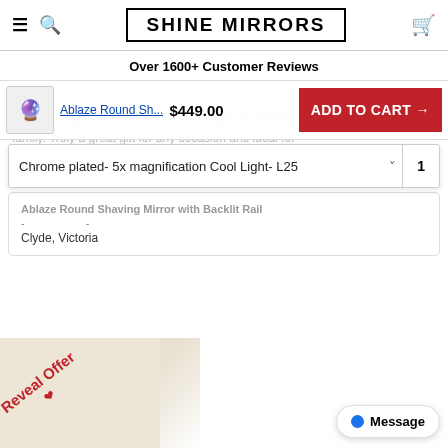SHINE MIRRORS
Over 1600+ Customer Reviews
[Figure (screenshot): Sticky add-to-cart bar showing product thumbnail, 'Ablaze Round Sh...' link, $449.00 price, and red ADD TO CART → button]
Chrome plated- 5x magnification Cool Light- L25 [dropdown] 1
Ablaze Round Shaving Mirror with Backlit Rail
Clyde, Victoria
Reveal Offer
Message